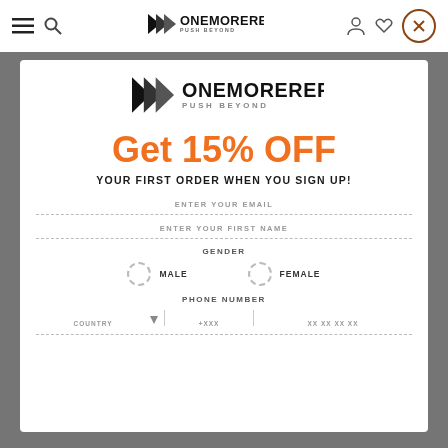[Figure (logo): OneMoreRep PUSH BEYOND logo - nav bar]
[Figure (logo): OneMoreRep PUSH BEYOND logo - modal]
Get 15% OFF
YOUR FIRST ORDER WHEN YOU SIGN UP!
ENTER YOUR EMAIL
ENTER YOUR FIRST NAME
GENDER
MALE
FEMALE
PHONE NUMBER
COUNTRY   +XXX   XX XX XX XX